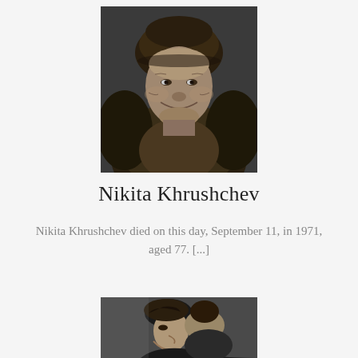[Figure (photo): Black and white portrait photograph of Nikita Khrushchev wearing a fur hat and fur coat, facing slightly forward with a slight smile.]
Nikita Khrushchev
Nikita Khrushchev died on this day, September 11, in 1971, aged 77. [...]
[Figure (photo): Black and white photograph of John F. Kennedy in profile, with a woman partially visible behind him.]